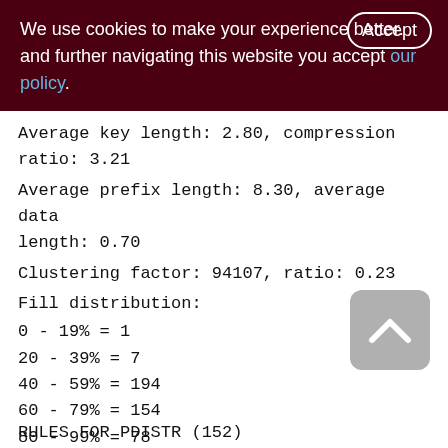We use cookies to make your experience better. By accepting and further navigating this website you accept our policy.
Average key length: 2.80, compression ratio: 3.21
Average prefix length: 8.30, average data length: 0.70
Clustering factor: 94107, ratio: 0.23
Fill distribution:
0 - 19% = 1
20 - 39% = 7
40 - 59% = 194
60 - 79% = 154
80 - 99% = 78
RULES FOR PDISTR (152)